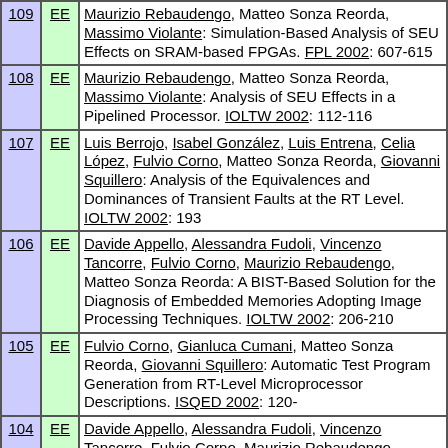| # | Type | Reference |
| --- | --- | --- |
| 109 | EE | Maurizio Rebaudengo, Matteo Sonza Reorda, Massimo Violante: Simulation-Based Analysis of SEU Effects on SRAM-based FPGAs. FPL 2002: 607-615 |
| 108 | EE | Maurizio Rebaudengo, Matteo Sonza Reorda, Massimo Violante: Analysis of SEU Effects in a Pipelined Processor. IOLTW 2002: 112-116 |
| 107 | EE | Luis Berrojo, Isabel González, Luis Entrena, Celia López, Fulvio Corno, Matteo Sonza Reorda, Giovanni Squillero: Analysis of the Equivalences and Dominances of Transient Faults at the RT Level. IOLTW 2002: 193 |
| 106 | EE | Davide Appello, Alessandra Fudoli, Vincenzo Tancorre, Fulvio Corno, Maurizio Rebaudengo, Matteo Sonza Reorda: A BIST-Based Solution for the Diagnosis of Embedded Memories Adopting Image Processing Techniques. IOLTW 2002: 206-210 |
| 105 | EE | Fulvio Corno, Gianluca Cumani, Matteo Sonza Reorda, Giovanni Squillero: Automatic Test Program Generation from RT-Level Microprocessor Descriptions. ISQED 2002: 120- |
| 104 | EE | Davide Appello, Alessandra Fudoli, Vincenzo Tancorre, Fulvio Corno, Maurizio Rebaudengo, Matteo Sonza Reorda: A BIST-Based Solution for the Diagnosis of Embedded Memories Adopting Image Processing |